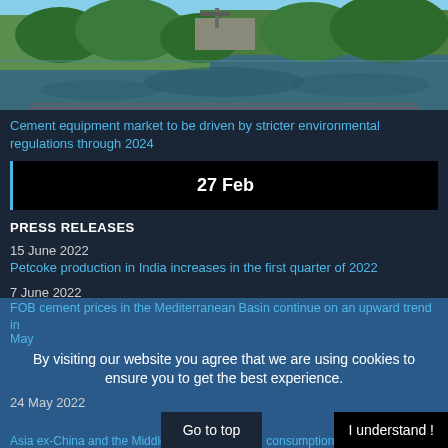[Figure (photo): Aerial photo of a cement plant or industrial facility surrounded by green trees and a river/lake, reflecting in the water]
Cement equipment market to be driven by stricter environmental regulations through 2024
27 Feb
PRESS RELEASES
15 June 2022
Petcoke production in India increases in the first quarter of 2022
7 June 2022
India and Nigeria to lead global cement capacity additions in 2022
31 May 2022
FOB cement prices in the Mediterranean Basin continue on an upward trend in May
24 May 2022
Asia ex-China and the Middle East ... consumption
By visiting our website you agree that we are using cookies to ensure you to get the best experience.